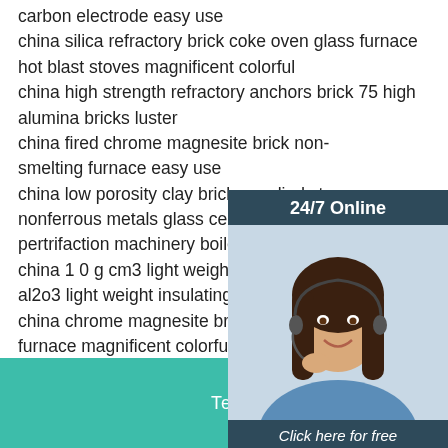carbon electrode easy use
china silica refractory brick coke oven glass furnace hot blast stoves magnificent colorful
china high strength refractory anchors brick 75 high alumina bricks luster
china fired chrome magnesite brick non-smelting furnace easy use
china low porosity clay bricks applied ste nonferrous metals glass cement ceramic pertrifaction machinery boiler easy use
china 1 0 g cm3 light weight insulating b al2o3 light weight insulating brick luster
china chrome magnesite brick non-ferro furnace magnificent colorful
china high quality unshape refractory alu cement easy use
china fused cast azs 33 36 41 bricks glass tanks magnificent colorful
[Figure (photo): Customer service representative woman with headset, smiling. Overlaid with 24/7 Online chat widget box with orange QUOTATION button.]
Tel